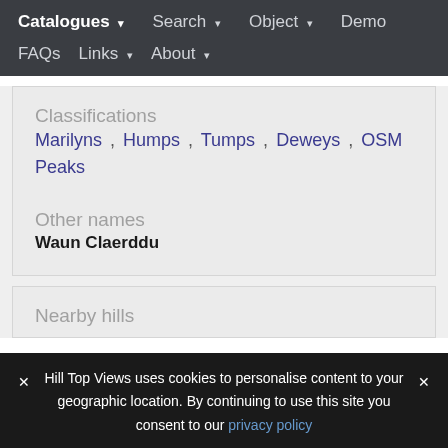Catalogues ▾   Search ▾   Object ▾   Demo   FAQs   Links ▾   About ▾
Classifications
Marilyns , Humps , Tumps , Deweys , OSM Peaks
Other names
Waun Claerddu
Nearby hills
✕ Hill Top Views uses cookies to personalise content to your geographic location. By continuing to use this site you consent to our privacy policy ✕